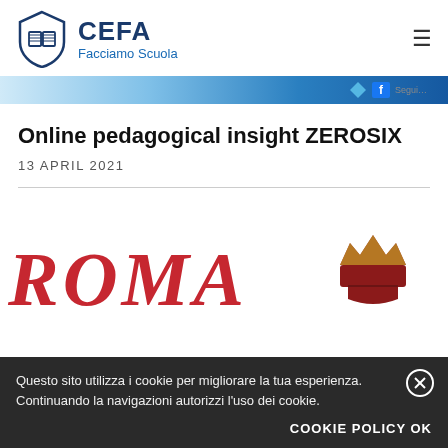[Figure (logo): CEFA Facciamo Scuola logo with shield icon containing open book]
[Figure (illustration): Banner strip with blue gradient, diamond shape and Facebook icon with partial text]
Online pedagogical insight ZEROSIX
13 APRIL 2021
[Figure (logo): ROMA text in red italic with crown and shield emblem on right]
Questo sito utilizza i cookie per migliorare la tua esperienza. Continuando la navigazioni autorizzi l'uso dei cookie.
COOKIE POLICY OK